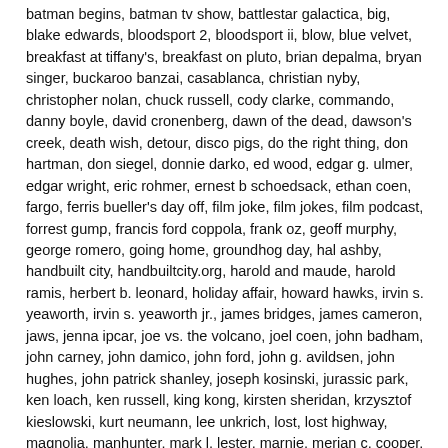batman begins, batman tv show, battlestar galactica, big, blake edwards, bloodsport 2, bloodsport ii, blow, blue velvet, breakfast at tiffany's, breakfast on pluto, brian depalma, bryan singer, buckaroo banzai, casablanca, christian nyby, christopher nolan, chuck russell, cody clarke, commando, danny boyle, david cronenberg, dawn of the dead, dawson's creek, death wish, detour, disco pigs, do the right thing, don hartman, don siegel, donnie darko, ed wood, edgar g. ulmer, edgar wright, eric rohmer, ernest b schoedsack, ethan coen, fargo, ferris bueller's day off, film joke, film jokes, film podcast, forrest gump, francis ford coppola, frank oz, geoff murphy, george romero, going home, groundhog day, hal ashby, handbuilt city, handbuiltcity.org, harold and maude, harold ramis, herbert b. leonard, holiday affair, howard hawks, irvin s. yeaworth, irvin s. yeaworth jr., james bridges, james cameron, jaws, jenna ipcar, joe vs. the volcano, joel coen, john badham, john carney, john damico, john ford, john g. avildsen, john hughes, john patrick shanley, joseph kosinski, jurassic park, ken loach, ken russell, king kong, kirsten sheridan, krzysztof kieslowski, kurt neumann, lee unkrich, lost, lost highway, magnolia, manhunter, mark l. lester, marnie, merian c. cooper, miami vice, michael curtiz, michael mann, mike's murder, movie joke, movie jokes, movie podcast, mystery science theater 3000, nashville, neil jordan, network, night of the living dead, o brother where art thou, o' brother, on the edge, paul thomas anderson, pauline at the beach, pee wee's big adventure, peewee's big